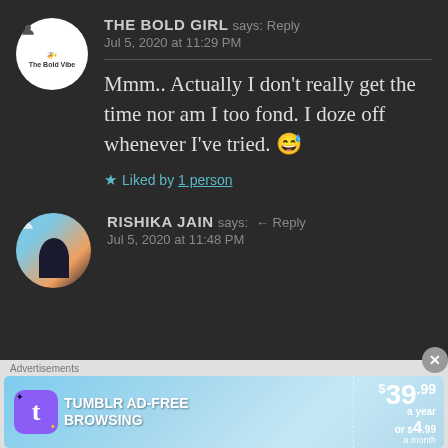THE BOLD GIRL says: Reply
Jul 5, 2020 at 11:29 PM
Mmm.. Actually I don't really get the time nor am I too fond. I doze off whenever I've tried. 😅
★ Liked by 1 person
RISHIKA JAIN says: ← Reply
Jul 5, 2020 at 11:48 PM
Advertisements
[Figure (screenshot): Tumblr Ad-Free Browsing advertisement banner: $39.99 a year or $4.99 a month]